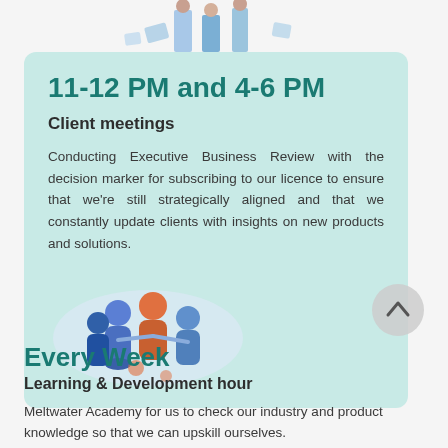[Figure (illustration): Partial illustration of people figures at the top of the page, cut off at top edge]
11-12 PM and 4-6 PM
Client meetings
Conducting Executive Business Review with the decision marker for subscribing to our licence to ensure that we're still strategically aligned and that we constantly update clients with insights on new products and solutions.
[Figure (illustration): Illustration of a group of people in a meeting, with blue and orange colors]
[Figure (other): Circular scroll-up button with an upward chevron arrow]
Every Week
Learning & Development hour
Meltwater Academy for us to check our industry and product knowledge so that we can upskill ourselves.